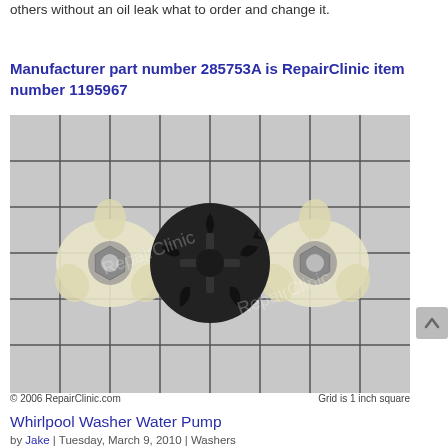others without an oil leak what to order and change it.
Manufacturer part number 285753A is RepairClinic item number 1195967
[Figure (photo): Product photo of washer part 285753A on a grid background: two cream/white three-pronged plastic couplers with metal hex inserts on the left and right, and a black rubber disc/coupler in the center. Grid is 1 inch square. Watermark: RepairClinic. Copyright 2006 RepairClinic.com]
© 2006 RepairClinic.com    Grid is 1 inch square
Whirlpool Washer Water Pump
by Jake | Tuesday, March 9, 2010 | Washers